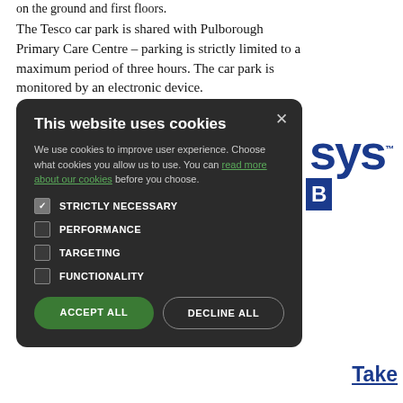on the ground and first floors.
The Tesco car park is shared with Pulborough Primary Care Centre – parking is strictly limited to a maximum period of three hours. The car park is monitored by an electronic device.
[Figure (screenshot): Cookie consent modal dialog on a dark background with options: Strictly Necessary (checked), Performance, Targeting, Functionality, and buttons Accept All and Decline All.]
[Figure (logo): Partial logo showing 'sys' in large dark blue letters with TM mark and a blue bar below with partial letter B]
Take